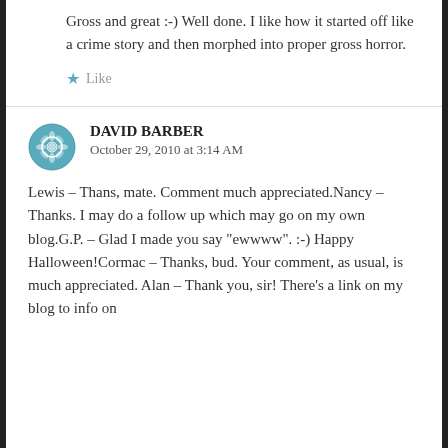Gross and great :-) Well done. I like how it started off like a crime story and then morphed into proper gross horror.
★ Like
DAVID BARBER
October 29, 2010 at 3:14 AM
Lewis – Thans, mate. Comment much appreciated.Nancy – Thanks. I may do a follow up which may go on my own blog.G.P. – Glad I made you say "ewwww". :-) Happy Halloween!Cormac – Thanks, bud. Your comment, as usual, is much appreciated. Alan – Thank you, sir! There's a link on my blog to info on